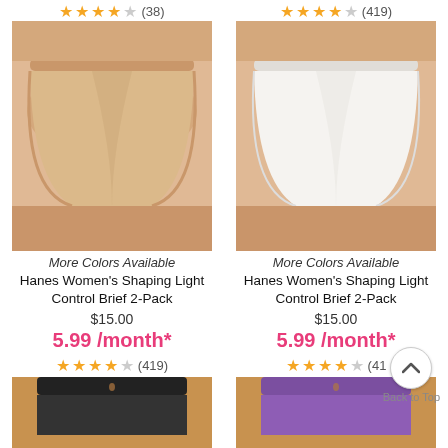[Figure (photo): Left product card top stars (38 reviews)]
[Figure (photo): Right product card top stars (419 reviews)]
[Figure (photo): Hanes Women's Shaping Light Control Brief 2-Pack in beige/nude color]
[Figure (photo): Hanes Women's Shaping Light Control Brief 2-Pack in white color]
More Colors Available
More Colors Available
Hanes Women's Shaping Light Control Brief 2-Pack
Hanes Women's Shaping Light Control Brief 2-Pack
$15.00
$15.00
5.99 /month*
5.99 /month*
(419)
(41
[Figure (photo): Bottom of product image - dark underwear on model]
[Figure (photo): Bottom of product image - purple underwear on model]
Back to Top